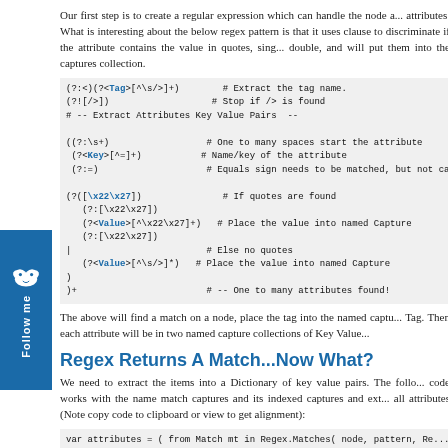Our first step is to create a regular expression which can handle the node attributes. What is interesting about the below regex pattern is that it uses clause to discriminate if the attribute contains the value in quotes, single or double, and will put them into the captures collection.
The above will find a match on a node, place the tag into the named capture Tag. Then each attribute will be in two named capture collections of Key Value.
Regex Returns A Match...Now What?
We need to extract the items into a Dictionary of key value pairs. The following code works with the name match captures and its indexed captures and extracts all attributes (Note copy code to clipboard or view to get alignment):